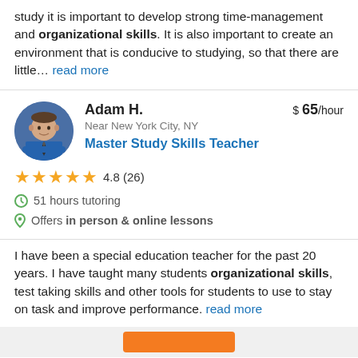study it is important to develop strong time-management and organizational skills. It is also important to create an environment that is conducive to studying, so that there are little… read more
Adam H. | $65/hour | Near New York City, NY | Master Study Skills Teacher | 4.8 (26) | 51 hours tutoring | Offers in person & online lessons
I have been a special education teacher for the past 20 years. I have taught many students organizational skills, test taking skills and other tools for students to use to stay on task and improve performance. read more